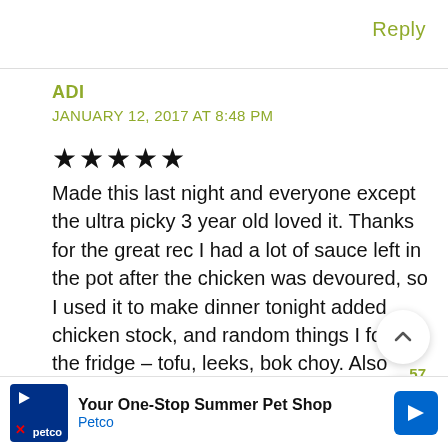Reply
ADI
JANUARY 12, 2017 AT 8:48 PM
★★★★★ Made this last night and everyone except the ultra picky 3 year old loved it. Thanks for the great rec I had a lot of sauce left in the pot after the chicken was devoured, so I used it to make dinner tonight added chicken stock, and random things I found the fridge – tofu, leeks, bok choy. Also added noodles to increase chances of consumption by kids. Fewer little people ate it, but my husband and I love
Your One-Stop Summer Pet Shop Petco